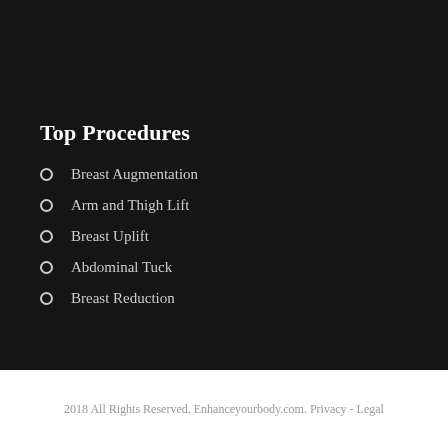Top Procedures
Breast Augmentation
Arm and Thigh Lift
Breast Uplift
Abdominal Tuck
Breast Reduction
2018 All Rights Reserved. Enhanceyourbody.com. Privacy - Legal